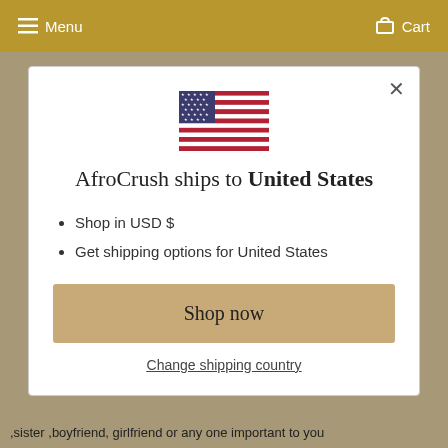Menu   Cart
[Figure (illustration): US flag emoji/icon displayed centered in modal]
AfroCrush ships to United States
Shop in USD $
Get shipping options for United States
Shop now
Change shipping country
,sister ,boyfriend, girlfriend or any one important to you